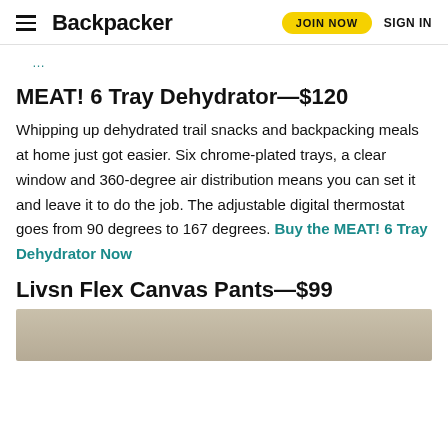Backpacker | JOIN NOW | SIGN IN
...
MEAT! 6 Tray Dehydrator—$120
Whipping up dehydrated trail snacks and backpacking meals at home just got easier. Six chrome-plated trays, a clear window and 360-degree air distribution means you can set it and leave it to do the job. The adjustable digital thermostat goes from 90 degrees to 167 degrees. Buy the MEAT! 6 Tray Dehydrator Now
Livsn Flex Canvas Pants—$99
[Figure (photo): Partial photo of a person wearing olive/khaki pants, cropped at torso level]